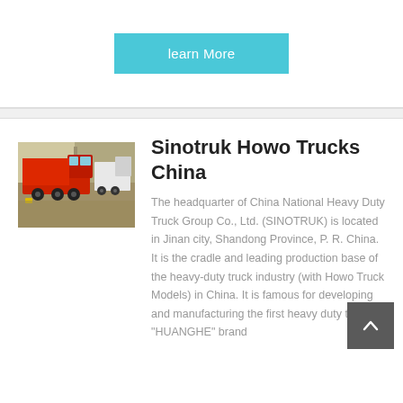learn More
[Figure (photo): Red Sinotruk Howo dump trucks parked in a lot]
Sinotruk Howo Trucks China
The headquarter of China National Heavy Duty Truck Group Co., Ltd. (SINOTRUK) is located in Jinan city, Shandong Province, P. R. China. It is the cradle and leading production base of the heavy-duty truck industry (with Howo Truck Models) in China. It is famous for developing and manufacturing the first heavy duty truck -- "HUANGHE" brand